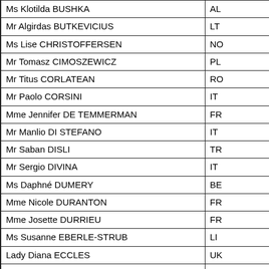| Name | Country |
| --- | --- |
| Ms Klotilda BUSHKA | AL |
| Mr Algirdas BUTKEVICIUS | LT |
| Ms Lise CHRISTOFFERSEN | NO |
| Mr Tomasz CIMOSZEWICZ | PL |
| Mr Titus CORLATEAN | RO |
| Mr Paolo CORSINI | IT |
| Mme Jennifer DE TEMMERMAN | FR |
| Mr Manlio DI STEFANO | IT |
| Mr Saban DISLI | TR |
| Mr Sergio DIVINA | IT |
| Ms Daphné DUMERY | BE |
| Mme Nicole DURANTON | FR |
| Mme Josette DURRIEU | FR |
| Ms Susanne EBERLE-STRUB | LI |
| Lady Diana ECCLES | UK |
| Mr Constantinos EFSTATHIOU | CY |
| Mme Edite ESTRELA | PT |